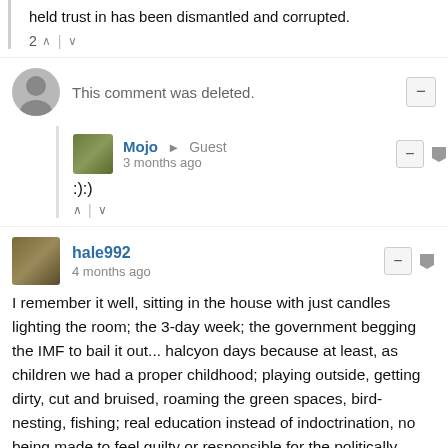held trust in has been dismantled and corrupted.
2 ↑ | ↓
This comment was deleted.
Mojo → Guest
3 months ago
:):)
hale992
4 months ago
I remember it well, sitting in the house with just candles lighting the room; the 3-day week; the government begging the IMF to bail it out... halcyon days because at least, as children we had a proper childhood; playing outside, getting dirty, cut and bruised, roaming the green spaces, bird-nesting, fishing; real education instead of indoctrination, no being made to feel guilty or responsible for the politically manufactured ills of the world or that it was our responsibility to put them right and disobey our parents if they disagreed, no inducement to pander to the reprobate perversions of